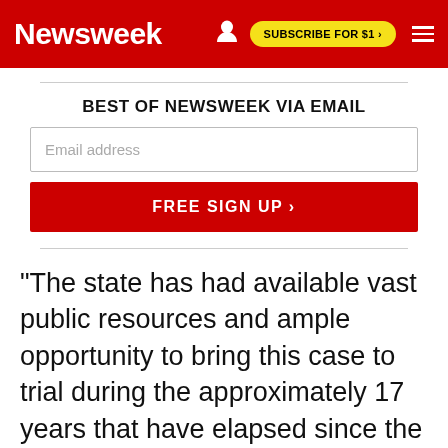Newsweek | SUBSCRIBE FOR $1 >
BEST OF NEWSWEEK VIA EMAIL
Email address
FREE SIGN UP >
"The state has had available vast public resources and ample opportunity to bring this case to trial during the approximately 17 years that have elapsed since the murder giving rise to these charges and seven years since defendants were first arrested for this crime."